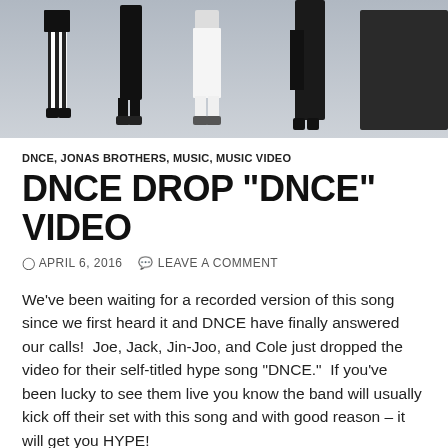[Figure (photo): Band photo of DNCE members (four people) standing against a light gray background, cropped at top showing partial bodies and legs]
DNCE, JONAS BROTHERS, MUSIC, MUSIC VIDEO
DNCE DROP “DNCE” VIDEO
APRIL 6, 2016   LEAVE A COMMENT
We’ve been waiting for a recorded version of this song since we first heard it and DNCE have finally answered our calls!  Joe, Jack, Jin-Joo, and Cole just dropped the video for their self-titled hype song “DNCE.”  If you’ve been lucky to see them live you know the band will usually kick off their set with this song and with good reason – it will get you HYPE!
Just like their name and previous songs, this one makes us want to DNCE around no matter where we are, and sing along